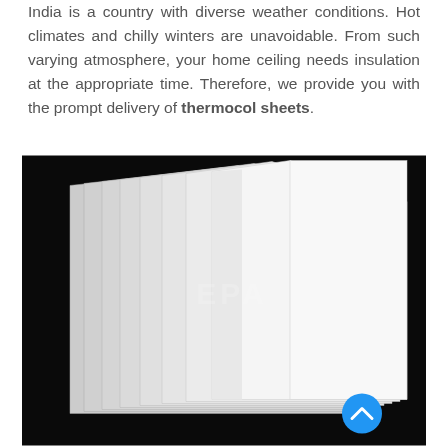India is a country with diverse weather conditions. Hot climates and chilly winters are unavoidable. From such varying atmosphere, your home ceiling needs insulation at the appropriate time. Therefore, we provide you with the prompt delivery of thermocol sheets.
[Figure (photo): Stack of white thermocol (polystyrene foam) sheets arranged in a fan-like spread against a black background, with a blue circular scroll-up button in the bottom right area and a faint watermark in the center.]